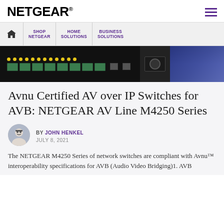NETGEAR®
[Figure (screenshot): Navigation bar with home icon, SHOP NETGEAR, HOME SOLUTIONS, BUSINESS SOLUTIONS]
[Figure (photo): Close-up photo of a NETGEAR network switch showing LED indicators and ethernet ports against a dark background with blue panel on right]
Avnu Certified AV over IP Switches for AVB: NETGEAR AV Line M4250 Series
BY JOHN HENKEL
JULY 8, 2021
The NETGEAR M4250 Series of network switches are compliant with Avnu™ interoperability specifications for AVB (Audio Video Bridging)1. AVB